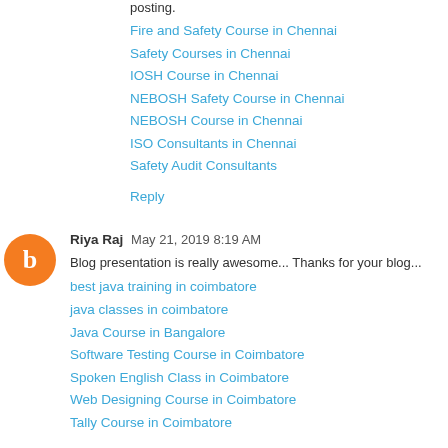posting.
Fire and Safety Course in Chennai
Safety Courses in Chennai
IOSH Course in Chennai
NEBOSH Safety Course in Chennai
NEBOSH Course in Chennai
ISO Consultants in Chennai
Safety Audit Consultants
Reply
Riya Raj May 21, 2019 8:19 AM
Blog presentation is really awesome... Thanks for your blog...
best java training in coimbatore
java classes in coimbatore
Java Course in Bangalore
Software Testing Course in Coimbatore
Spoken English Class in Coimbatore
Web Designing Course in Coimbatore
Tally Course in Coimbatore